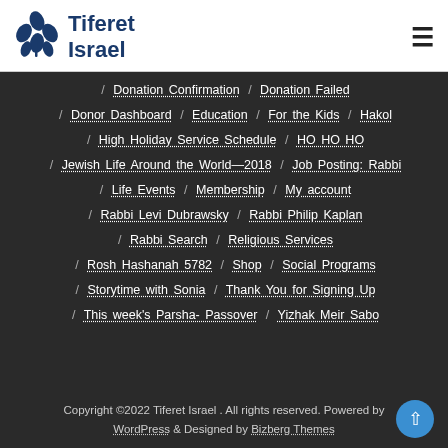Tiferet Israel
/ Donation Confirmation / Donation Failed
/ Donor Dashboard / Education / For the Kids / Hakol
/ High Holiday Service Schedule / HO HO HO
/ Jewish Life Around the World—2018 / Job Posting: Rabbi
/ Life Events / Membership / My account
/ Rabbi Levi Dubrawsky / Rabbi Philip Kaplan
/ Rabbi Search / Religious Services
/ Rosh Hashanah 5782 / Shop / Social Programs
/ Storytime with Sonia / Thank You for Signing Up
/ This week's Parsha- Passover / Yizhak Meir Sabo
Copyright ©2022 Tiferet Israel . All rights reserved. Powered by WordPress & Designed by Bizberg Themes